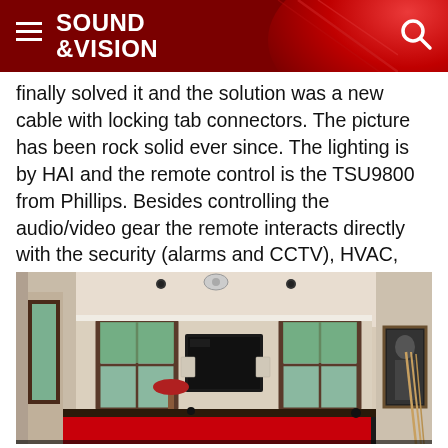SOUND &VISION
finally solved it and the solution was a new cable with locking tab connectors. The picture has been rock solid ever since. The lighting is by HAI and the remote control is the TSU9800 from Phillips. Besides controlling the audio/video gear the remote interacts directly with the security (alarms and CCTV), HVAC, and lighting systems throughout the whole house.
[Figure (photo): Interior room photo showing a billiard/game room with a red pool table in the foreground, a flat-panel TV mounted on the far wall, windows with natural light on either side, ceiling speakers, bar stool, and a framed portrait on the right wall.]